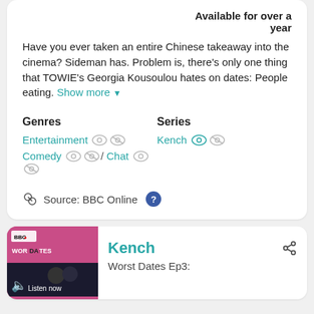Available for over a year
Have you ever taken an entire Chinese takeaway into the cinema? Sideman has. Problem is, there's only one thing that TOWIE's Georgia Kousoulou hates on dates: People eating. Show more ▼
Genres
Entertainment
Comedy / Chat

Series
Kench
Source: BBC Online
Kench
Worst Dates Ep3: